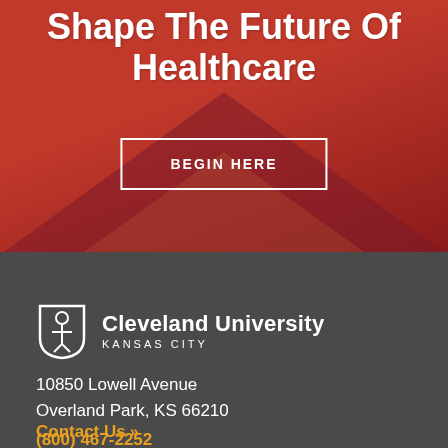Shape The Future Of Healthcare
BEGIN HERE
[Figure (logo): Cleveland University Kansas City shield logo with stylized figure inside]
Cleveland University
KANSAS CITY
10850 Lowell Avenue
Overland Park, KS 66210
(800) 467-2252
Contact Us »